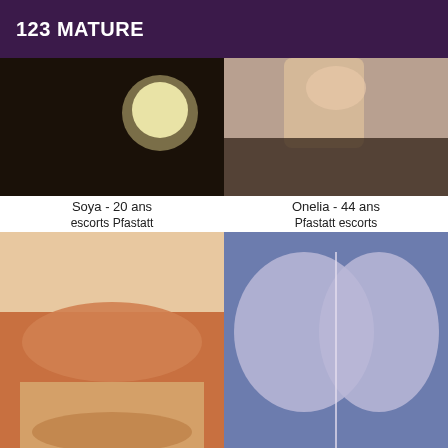123 MATURE
[Figure (photo): Top-left photo: dark moody bedroom scene with light orb]
Soya - 20 ans
escorts Pfastatt
[Figure (photo): Top-right photo: legs and dark hair on textured background]
Onelia - 44 ans
Pfastatt escorts
[Figure (photo): Middle-left photo: blonde woman in orange top lying on bed]
Illyanna - 24 ans
escortes girls mature Pfastatt
[Figure (photo): Middle-right photo: close-up of blue lingerie]
Sanja - 25 ans
escorts girls mature Pfastatt
[Figure (photo): Bottom-left partial photo: white/dark tones]
[Figure (photo): Bottom-right partial photo: redhead woman]